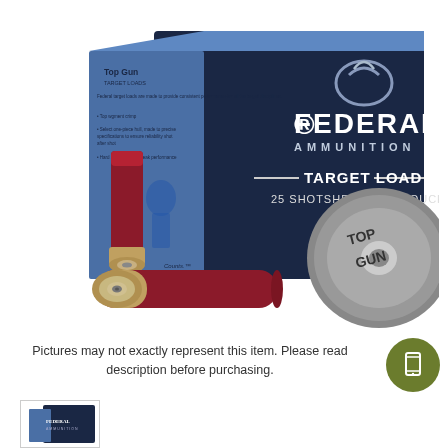[Figure (photo): Federal Ammunition Top Gun Target Load box with 25 Shotshells/Cartouches, shown with two red shotgun shells in front of the dark blue and silver ammunition box. The box features the Federal Ammunition logo and 'TOP GUN' branding on a metallic shell base graphic.]
Pictures may not exactly represent this item. Please read description before purchasing.
[Figure (photo): Small thumbnail image of the Federal Ammunition Top Gun box.]